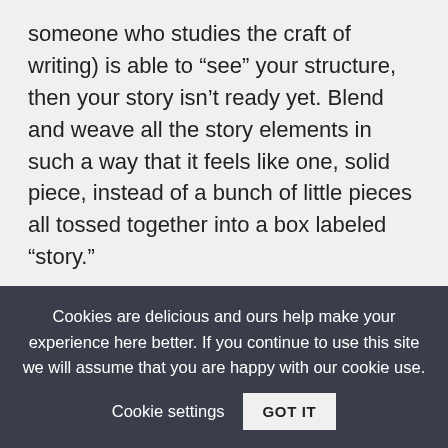someone who studies the craft of writing) is able to “see” your structure, then your story isn’t ready yet. Blend and weave all the story elements in such a way that it feels like one, solid piece, instead of a bunch of little pieces all tossed together into a box labeled “story.”
It should flow naturally from point to point, never feel forced. Work as many drafts as necessary to make this happen. Beta readers
Cookies are delicious and ours help make your experience here better. If you continue to use this site we will assume that you are happy with our cookie use.   Cookie settings   GOT IT